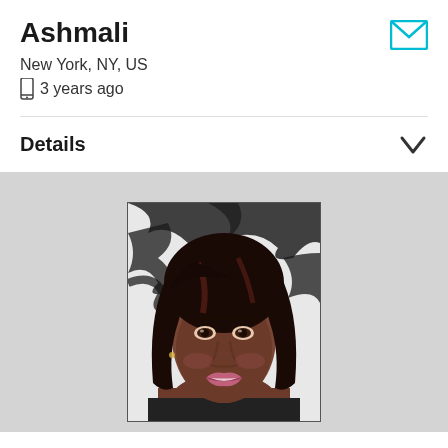Ashmali
New York, NY, US
3 years ago
Details
[Figure (photo): Profile photo of a woman with dark hair smiling, with a zebra-print background]